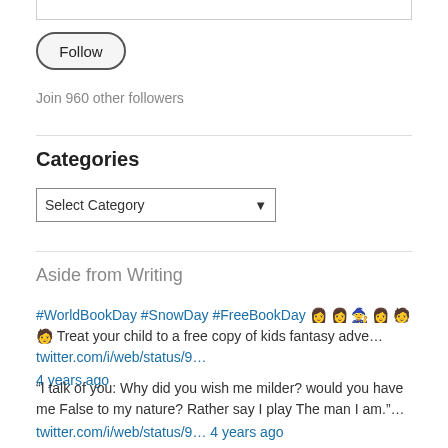[Figure (screenshot): Top of a search/input bar, partially visible at top of page]
Follow
Join 960 other followers
Categories
Select Category
Aside from Writing
#WorldBookDay #SnowDay #FreeBookDay 👩‍👩‍👧‍👦👩‍👩‍👦‍👦🧙‍♀️👩‍👩‍👧‍👦🧑‍🤝‍🧑🧑 Treat your child to a free copy of kids fantasy adve… twitter.com/i/web/status/9… 4 years ago
“I talk of you: Why did you wish me milder? would you have me False to my nature? Rather say I play The man I am.”… twitter.com/i/web/status/9… 4 years ago